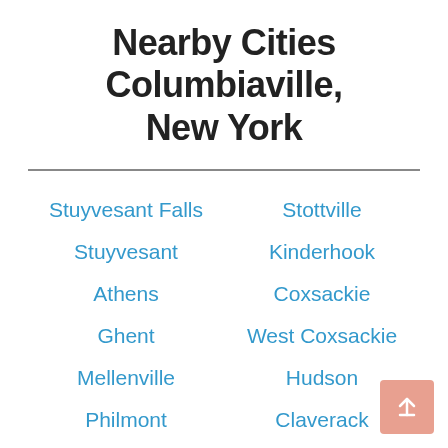Nearby Cities Columbiaville, New York
Stuyvesant Falls
Stottville
Stuyvesant
Kinderhook
Athens
Coxsackie
Ghent
West Coxsackie
Mellenville
Hudson
Philmont
Claverack